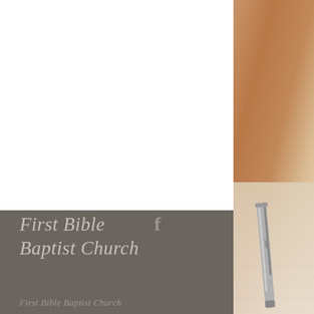[Figure (photo): Church website page showing a dark grey footer panel with italic serif text 'First Bible Baptist Church' and a Facebook icon, set against a white area on the left and a warm-toned blurred photo (showing a pen on paper) on the right side.]
First Bible Baptist Church
First Bible Baptist Church